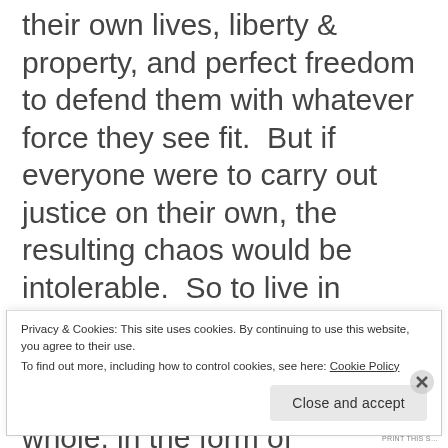their own lives, liberty & property, and perfect freedom to defend them with whatever force they see fit. But if everyone were to carry out justice on their own, the resulting chaos would be intolerable. So to live in peace, men form a social compact with one another, in which they surrender to whole, in the form of government, the right to judge & punish transgressions against their rights. Accordingly, the Founders crafted a government based on immutable
Privacy & Cookies: This site uses cookies. By continuing to use this website, you agree to their use. To find out more, including how to control cookies, see here: Cookie Policy
Close and accept